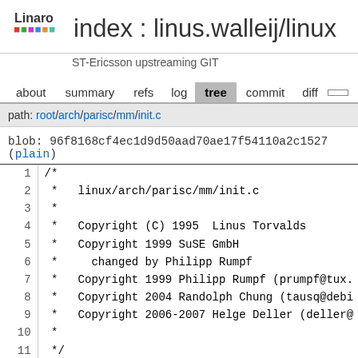index : linus.walleij/linux
ST-Ericsson upstreaming GIT
about  summary  refs  log  tree  commit  diff
path: root/arch/parisc/mm/init.c
blob: 96f8168cf4ec1d9d50aad70ae17f54110a2c1527 (plain)
1  /*
2   *  linux/arch/parisc/mm/init.c
3   *
4   *  Copyright (C) 1995  Linus Torvalds
5   *  Copyright 1999 SuSE GmbH
6   *    changed by Philipp Rumpf
7   *  Copyright 1999 Philipp Rumpf (prumpf@tux.
8   *  Copyright 2004 Randolph Chung (tausq@debi
9   *  Copyright 2006-2007 Helge Deller (deller@
10  *
11  */
12
13
14 #include <linux/module.h>
15 #include <linux/mm.h>
16 #include <linux/bootmem.h>
17 #include <linux/gfp.h>